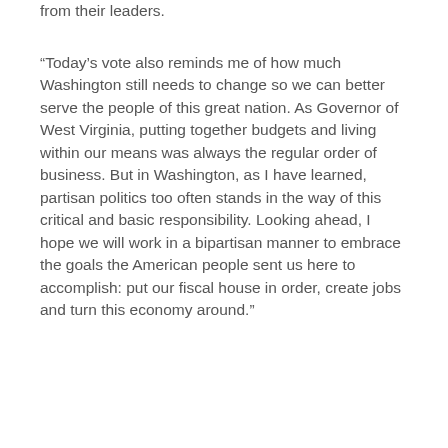from their leaders.
“Today’s vote also reminds me of how much Washington still needs to change so we can better serve the people of this great nation. As Governor of West Virginia, putting together budgets and living within our means was always the regular order of business. But in Washington, as I have learned, partisan politics too often stands in the way of this critical and basic responsibility. Looking ahead, I hope we will work in a bipartisan manner to embrace the goals the American people sent us here to accomplish: put our fiscal house in order, create jobs and turn this economy around.”